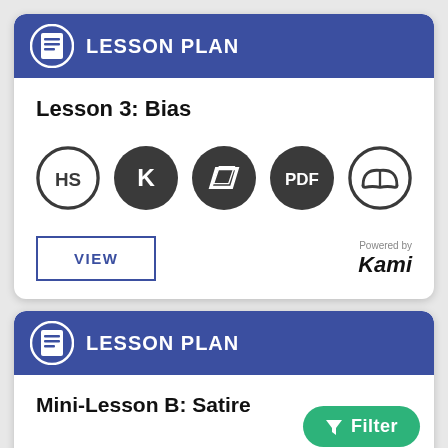LESSON PLAN
Lesson 3: Bias
[Figure (infographic): Row of 5 circular icons: HS (outline circle), K (dark filled), parallelogram shape (dark filled), PDF (dark filled), open book (outline circle)]
VIEW
Powered by Kami
LESSON PLAN
Mini-Lesson B: Satire
Filter